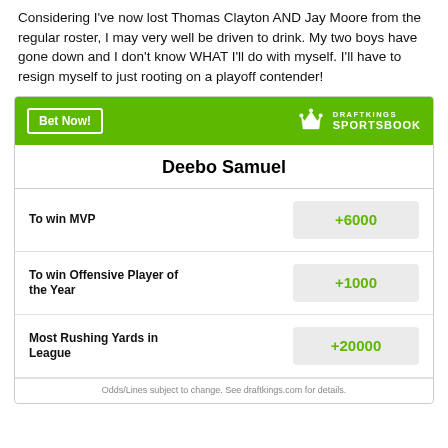Considering I've now lost Thomas Clayton AND Jay Moore from the regular roster, I may very well be driven to drink. My two boys have gone down and I don't know WHAT I'll do with myself. I'll have to resign myself to just rooting on a playoff contender!
|  | Deebo Samuel |  |
| --- | --- | --- |
| To win MVP | +6000 |  |
| To win Offensive Player of the Year | +1000 |  |
| Most Rushing Yards in League | +20000 |  |
Odds/Lines subject to change. See draftkings.com for details.